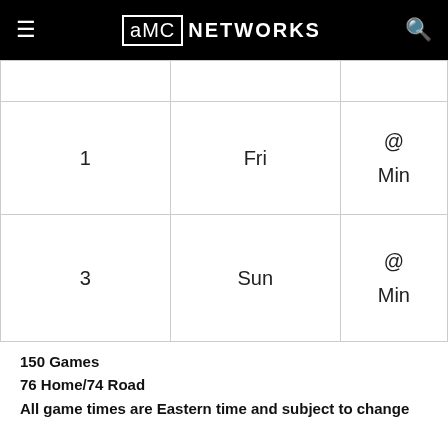AMC NETWORKS
|  |  |  |
| --- | --- | --- |
|  |  |  |
| 1 | Fri | @ Min |
| 3 | Sun | @ Min |
150 Games
76 Home/74 Road
All game times are Eastern time and subject to change